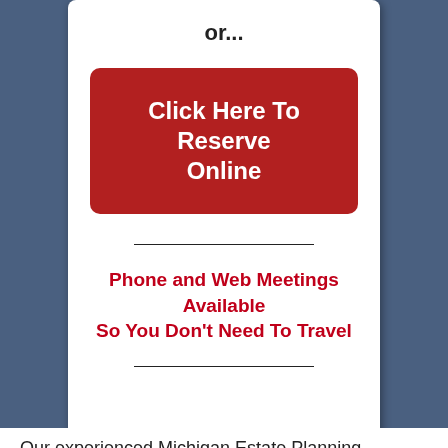or...
Click Here To Reserve Online
Phone and Web Meetings Available So You Don't Need To Travel
Our experienced Michigan Estate Planning